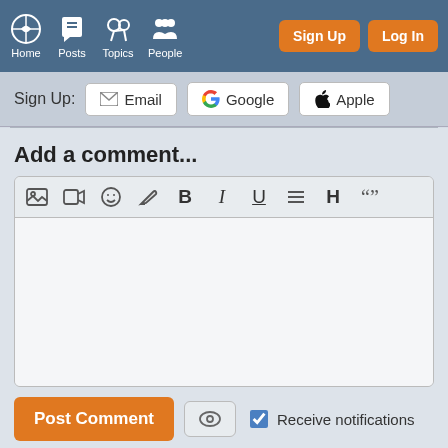Home  Posts  Topics  People  Sign Up  Log In
Sign Up:  Email  Google  Apple
Add a comment...
[Figure (screenshot): Rich text editor toolbar with icons: image, video, emoji, pen/draw, Bold, Italic, Underline, list, Heading, quote]
Post Comment  [eye icon]  Receive notifications
49,143 people following